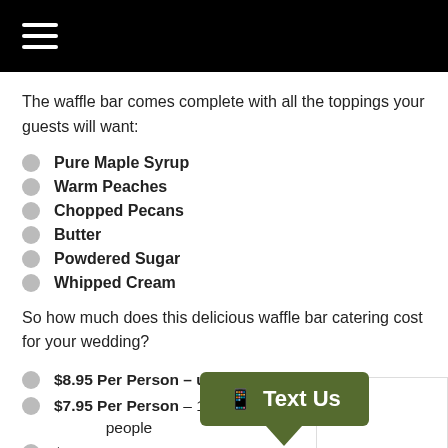≡
The waffle bar comes complete with all the toppings your guests will want:
Pure Maple Syrup
Warm Peaches
Chopped Pecans
Butter
Powdered Sugar
Whipped Cream
So how much does this delicious waffle bar catering cost for your wedding?
$8.95 Per Person – up to 15 people
$7.95 Per Person – 16-49 people
$6.95 Per Person – 50-500 people